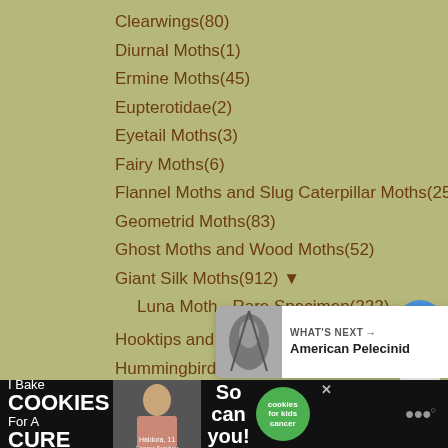Clearwings(80)
Diurnal Moths(1)
Ermine Moths(45)
Eupterotidae(2)
Eyetail Moths(3)
Fairy Moths(6)
Flannel Moths and Slug Caterpillar Moths(25)
Geometrid Moths(83)
Ghost Moths and Wood Moths(52)
Giant Silk Moths(912) ▼
Luna Moth - Rare Specimen(222)
Hooktips and False Owlet Moths(4)
Hummingbird Moths, Sphinx Moths or Hawk Moths(983)
Lappet Moths(24)
Leaf Skeletonizer Moths(34)
Microlepidoptera(11)
Noctuoids(532) ▼
Black Witch(46)
Owlet Moths(97)
[Figure (other): What's Next card with thumbnail of American Pelecinid insect and navigation arrow]
[Figure (other): Advertisement banner: I Bake COOKIES For A CURE with woman photo, So can you! text, and Cookies for Kids Cancer green logo]